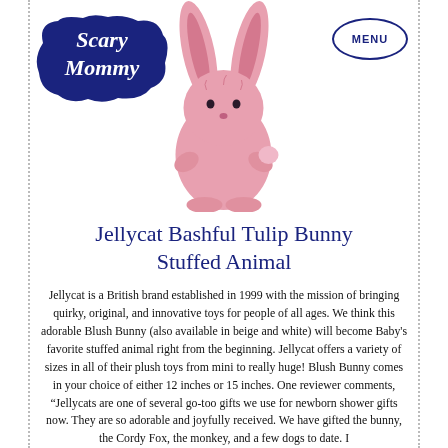[Figure (logo): Scary Mommy logo — white cursive text on a dark navy cloud/blob shape]
[Figure (photo): Pink Jellycat Bashful Tulip Bunny stuffed animal, sitting upright, viewed from behind/front, fluffy pink plush with long ears]
MENU
Jellycat Bashful Tulip Bunny Stuffed Animal
Jellycat is a British brand established in 1999 with the mission of bringing quirky, original, and innovative toys for people of all ages. We think this adorable Blush Bunny (also available in beige and white) will become Baby's favorite stuffed animal right from the beginning. Jellycat offers a variety of sizes in all of their plush toys from mini to really huge! Blush Bunny comes in your choice of either 12 inches or 15 inches. One reviewer comments, “Jellycats are one of several go-too gifts we use for newborn shower gifts now. They are so adorable and joyfully received. We have gifted the bunny, the Cordy Fox, the monkey, and a few dogs to date. I